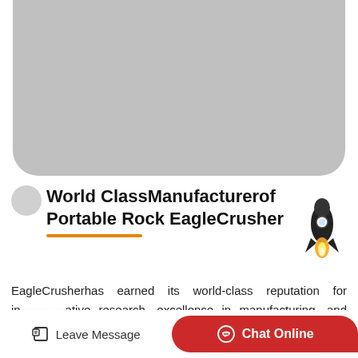[Figure (photo): Gray placeholder image region with rounded bottom corners]
World ClassManufacturerof Portable Rock EagleCrusher
[Figure (illustration): Rocket ship emoji/illustration on the right side]
EagleCrusherhas earned its world-class reputation for innovative research, excellence in manufacturing, and quality products due to its philosophy of putting customers needs first. Our #1 goal ...